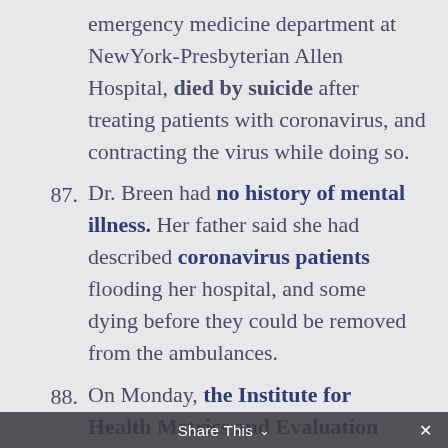emergency medicine department at NewYork-Presbyterian Allen Hospital, died by suicide after treating patients with coronavirus, and contracting the virus while doing so.
87. Dr. Breen had no history of mental illness. Her father said she had described coronavirus patients flooding her hospital, and some dying before they could be removed from the ambulances.
88. On Monday, the Institute for Health Metrics and Evaluation model used by the White House raised its projected death estimate to 74,073 by August 4, up from 67,000 and about 60,000 earlier.
Share This ×